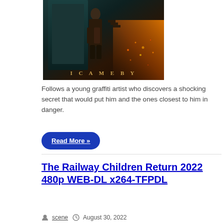[Figure (photo): Movie poster for 'I Came By' showing a dark atmospheric scene with a person standing and the title text 'I CAME BY' in gold/bronze letters at the bottom]
Follows a young graffiti artist who discovers a shocking secret that would put him and the ones closest to him in danger.
Read More »
The Railway Children Return 2022 480p WEB-DL x264-TFPDL
scene  August 30, 2022